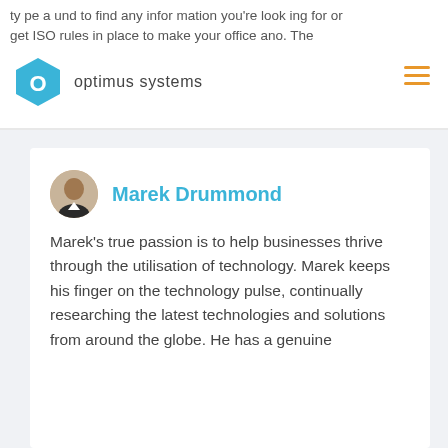optimus systems
[Figure (logo): Optimus Systems logo: teal hexagon with letter O and text 'optimus systems']
Marek Drummond
[Figure (photo): Headshot photo of Marek Drummond]
Marek's true passion is to help businesses thrive through the utilisation of technology. Marek keeps his finger on the technology pulse, continually researching the latest technologies and solutions from around the globe. He has a genuine